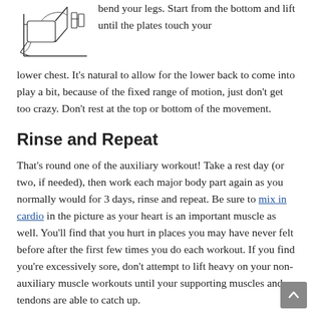[Figure (illustration): Line drawing of a weight machine/leg curl exercise equipment]
bend your legs. Start from the bottom and lift until the plates touch your lower chest. It’s natural to allow for the lower back to come into play a bit, because of the fixed range of motion, just don’t get too crazy. Don’t rest at the top or bottom of the movement.
Rinse and Repeat
That’s round one of the auxiliary workout! Take a rest day (or two, if needed), then work each major body part again as you normally would for 3 days, rinse and repeat. Be sure to mix in cardio in the picture as your heart is an important muscle as well. You’ll find that you hurt in places you may have never felt before after the first few times you do each workout. If you find you’re excessively sore, don’t attempt to lift heavy on your non-auxiliary muscle workouts until your supporting muscles and tendons are able to catch up.